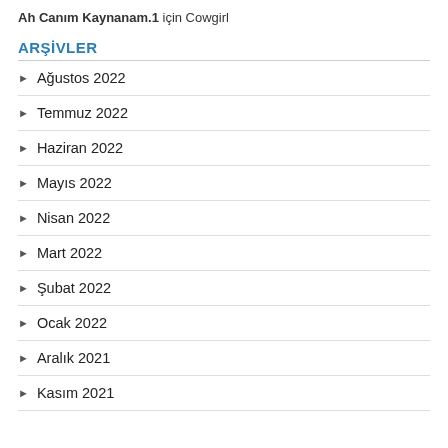Ah Canım Kaynanam.1 için Cowgirl
ARŞİVLER
Ağustos 2022
Temmuz 2022
Haziran 2022
Mayıs 2022
Nisan 2022
Mart 2022
Şubat 2022
Ocak 2022
Aralık 2021
Kasım 2021